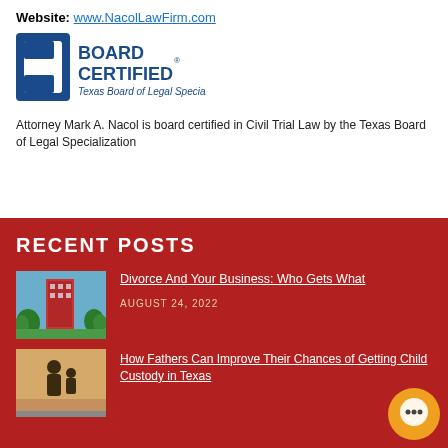Website: www.NacolLawFirm.com
[Figure (logo): Board Certified - Texas Board of Legal Specialization logo with blue C-shaped icon and bold text]
Attorney Mark A. Nacol is board certified in Civil Trial Law by the Texas Board of Legal Specialization
RECENT POSTS
[Figure (photo): Photo of a tall modern office building surrounded by green trees and blue sky]
Divorce And Your Business: Who Gets What
AUGUST 24, 2022
[Figure (photo): Photo related to fathers and child custody in Texas]
How Fathers Can Improve Their Chances of Getting Child Custody in Texas